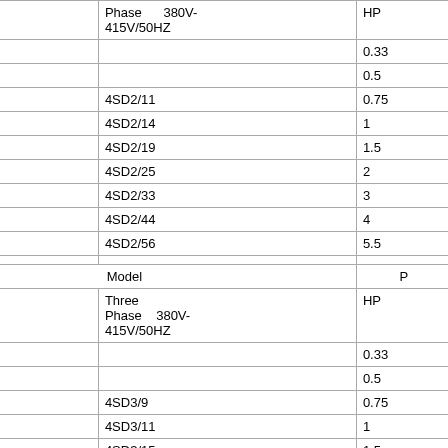| Single Phase 220V-240V/50HZ | Three Phase 380V-415V/50HZ | HP |
| --- | --- | --- |
| 4SDM2/6 |  | 0.33 |
| 4SDM2/8 |  | 0.5 |
| 4SDM2/11 | 4SD2/11 | 0.75 |
| 4SDM2/14 | 4SD2/14 | 1 |
| 4SDM2/19 | 4SD2/19 | 1.5 |
| 4SDM2/25 | 4SD2/25 | 2 |
| 4SDM2/33 | 4SD2/33 | 3 |
|  | 4SD2/44 | 4 |
|  | 4SD2/56 | 5.5 |
|  |  |  |
| Model |  | P |
| Single Phase 220V-240V/50HZ | Three Phase 380V-415V/50HZ | HP |
| 4SDM3/5 |  | 0.33 |
| 4SDM3/7 |  | 0.5 |
| 4SDM3/9 | 4SD3/9 | 0.75 |
| 4SDM3/11 | 4SD3/11 | 1 |
| 4SDM3/15 | 4SD3/15 | 1.5 |